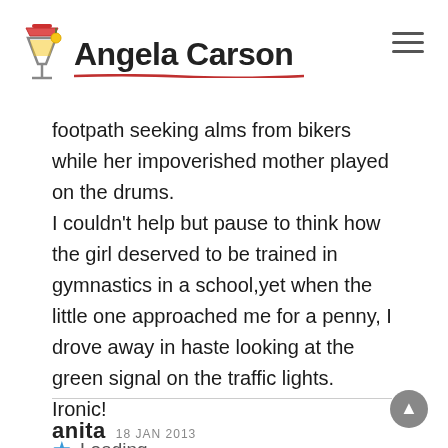Angela Carson
footpath seeking alms from bikers while her impoverished mother played on the drums.
I couldn't help but pause to think how the girl deserved to be trained in gymnastics in a school,yet when the little one approached me for a penny, I drove away in haste looking at the green signal on the traffic lights.
Ironic!
★ Loading...
anita 18 JAN 2013
There is no Good Samaritan Law in India as there is in other countries.